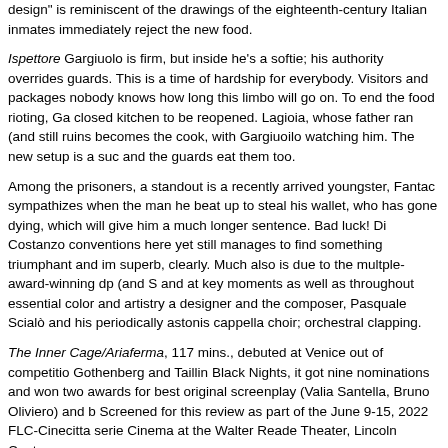design" is reminiscent of the drawings of the eighteenth-century Italian inmates immediately reject the new food.
Ispettore Gargiuolo is firm, but inside he's a softie; his authority overrides guards. This is a time of hardship for everybody. Visitors and packages nobody knows how long this limbo will go on. To end the food rioting, Ga closed kitchen to be reopened. Lagioia, whose father ran (and still ruins becomes the cook, with Gargiuoilo watching him. The new setup is a suc and the guards eat them too.
Among the prisoners, a standout is a recently arrived youngster, Fantac sympathizes when the man he beat up to steal his wallet, who has gone dying, which will give him a much longer sentence. Bad luck! Di Costanzo conventions here yet still manages to find something triumphant and im superb, clearly. Much also is due to the multple-award-winning dp (and S and at key moments as well as throughout essential color and artistry a designer and the composer, Pasquale Scialò and his periodically astonis cappella choir; orchestral clapping.
The Inner Cage/Ariaferma, 117 mins., debuted at Venice out of competitio Gothenberg and Taillin Black Nights, it got nine nominations and won two awards for best original screenplay (Valia Santella, Bruno Oliviero) and b Screened for this review as part of the June 9-15, 2022 FLC-Cinecitta serie Cinema at the Walter Reade Theater, Lincoln Center.
Sunday, June 12 at 8:15pm
Monday, June 13 at 3:30pm
Last edited by Chris Kninn: 06-08-2022 at 01:27 AM